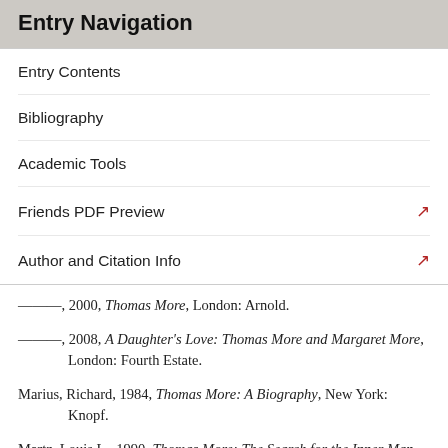Entry Navigation
Entry Contents
Bibliography
Academic Tools
Friends PDF Preview
Author and Citation Info
–––, 2000, Thomas More, London: Arnold.
–––, 2008, A Daughter's Love: Thomas More and Margaret More, London: Fourth Estate.
Marius, Richard, 1984, Thomas More: A Biography, New York: Knopf.
Martz, Louis L., 1990, Thomas More: The Search for the Inner Man, New Haven and London: Yale University Press.
Selected Secondary Studies